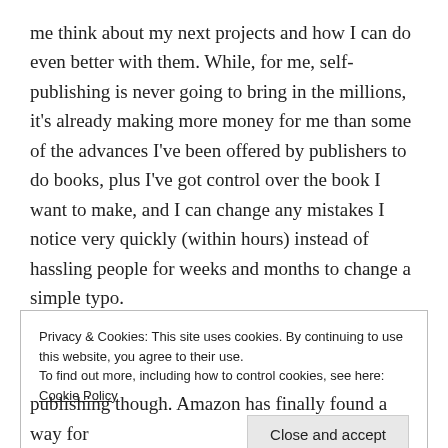me think about my next projects and how I can do even better with them. While, for me, self-publishing is never going to bring in the millions, it's already making more money for me than some of the advances I've been offered by publishers to do books, plus I've got control over the book I want to make, and I can change any mistakes I notice very quickly (within hours) instead of hassling people for weeks and months to change a simple typo.
Privacy & Cookies: This site uses cookies. By continuing to use this website, you agree to their use.
To find out more, including how to control cookies, see here: Cookie Policy
publishing though. Amazon has finally found a way for